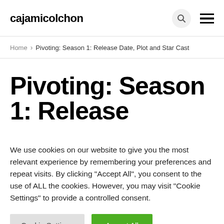cajamicolchon
Home > Pivoting: Season 1: Release Date, Plot and Star Cast
Pivoting: Season 1: Release
We use cookies on our website to give you the most relevant experience by remembering your preferences and repeat visits. By clicking "Accept All", you consent to the use of ALL the cookies. However, you may visit "Cookie Settings" to provide a controlled consent.
Cookie Settings | Accept All